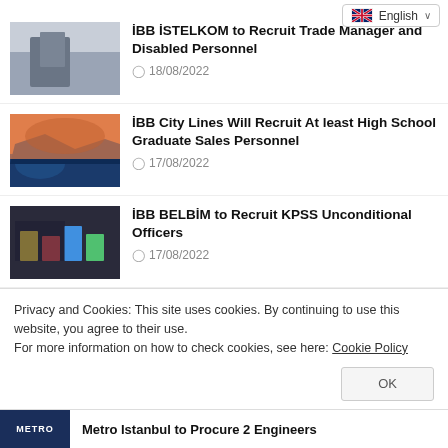English
İBB İSTELKOM to Recruit Trade Manager and Disabled Personnel — 18/08/2022
İBB City Lines Will Recruit At least High School Graduate Sales Personnel — 17/08/2022
İBB BELBİM to Recruit KPSS Unconditional Officers — 17/08/2022
Privacy and Cookies: This site uses cookies. By continuing to use this website, you agree to their use.
For more information on how to check cookies, see here: Cookie Policy
OK
Metro Istanbul to Procure 2 Engineers